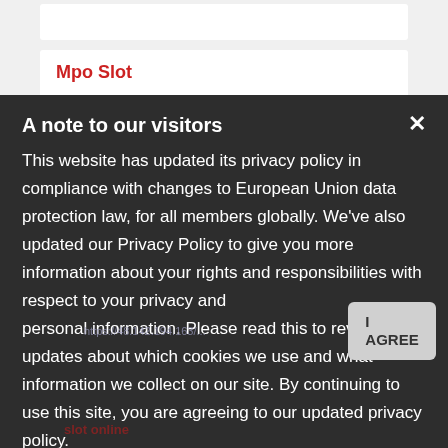Mpo Slot
A note to our visitors
This website has updated its privacy policy in compliance with changes to European Union data protection law, for all members globally. We've also updated our Privacy Policy to give you more information about your rights and responsibilities with respect to your privacy and personal information. Please read this to review the updates about which cookies we use and what information we collect on our site. By continuing to use this site, you are agreeing to our updated privacy policy.